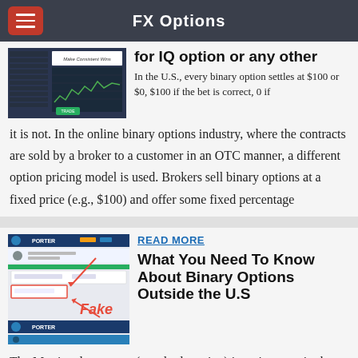FX Options
[Figure (screenshot): Screenshot of a trading platform showing a chart with text 'Make Consistent Wins']
...what are the best strategies for IQ option or any other
In the U.S., every binary option settles at $100 or $0, $100 if the bet is correct, 0 if it is not. In the online binary options industry, where the contracts are sold by a broker to a customer in an OTC manner, a different option pricing model is used. Brokers sell binary options at a fixed price (e.g., $100) and offer some fixed percentage
[Figure (screenshot): Screenshot of Porter Finance platform with 'Fake' label and red arrows pointing to interface elements]
READ MORE
What You Need To Know About Binary Options Outside the U.S
The Martingale strategy (standard version) is an increase in the bet after each loss from the calculation to cover the previous loss (or the total loss after a continuous series of losses) and return to the